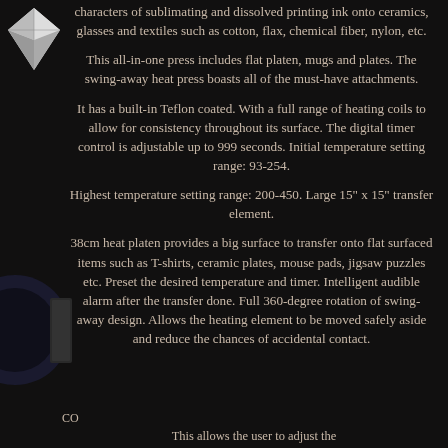[Figure (logo): Diamond/gem logo in top-left corner, white faceted diamond shape on dark background]
characters of sublimating and dissolved printing ink onto ceramics, glasses and textiles such as cotton, flax, chemical fiber, nylon, etc.
This all-in-one press includes flat platen, mugs and plates. The swing-away heat press boasts all of the must-have attachments.
It has a built-in Teflon coated. With a full range of heating coils to allow for consistency throughout its surface. The digital timer control is adjustable up to 999 seconds. Initial temperature setting range: 93-254.
Highest temperature setting range: 200-450. Large 15" x 15" transfer element.
38cm heat platen provides a big surface to transfer onto flat surfaced items such as T-shirts, ceramic plates, mouse pads, jigsaw puzzles etc. Preset the desired temperature and timer. Intelligent audible alarm after the transfer done. Full 360-degree rotation of swing-away design. Allows the heating element to be moved safely aside and reduce the chances of accidental contact.
[Figure (photo): Dark circular object (mug press attachment) visible at bottom-left]
CO
This allows the user to adjust the...